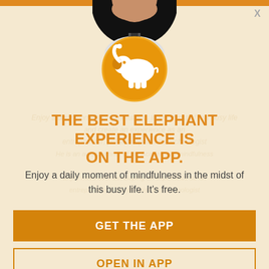[Figure (photo): Person's face in black circular profile photo cropped at top of popup]
[Figure (logo): Orange circle with white elephant silhouette logo]
THE BEST ELEPHANT EXPERIENCE IS ON THE APP.
Enjoy a daily moment of mindfulness in the midst of this busy life. It's free.
GET THE APP
OPEN IN APP